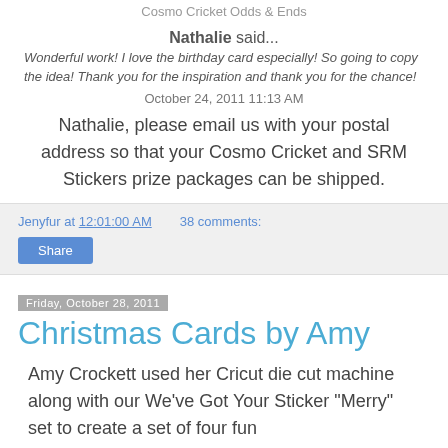Cosmo Cricket  Odds & Ends
Nathalie said...
Wonderful work! I love the birthday card especially! So going to copy the idea! Thank you for the inspiration and thank you for the chance!
October 24, 2011 11:13 AM
Nathalie, please email us with your postal address so that your Cosmo Cricket and SRM Stickers prize packages can be shipped.
Jenyfur at 12:01:00 AM   38 comments:
Share
Friday, October 28, 2011
Christmas Cards by Amy
Amy Crockett used her Cricut die cut machine along with our We've Got Your Sticker "Merry" set to create a set of four fun